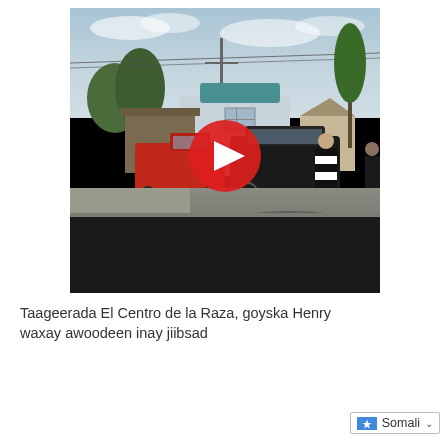[Figure (screenshot): A YouTube video thumbnail showing an outdoor street scene with a red pickup truck and a dark SUV parked near a residential building, a person in black and white patterned clothing standing nearby, trees and power lines in the background, with a large YouTube play button (red circle with white triangle) overlaid in the center. The bottom portion of the video player is black.]
Taageerada El Centro de la Raza, goyska Henry waxay awoodeen inay jiibsad
Somali